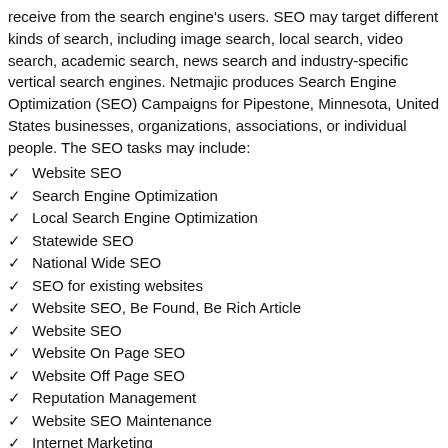receive from the search engine's users. SEO may target different kinds of search, including image search, local search, video search, academic search, news search and industry-specific vertical search engines. Netmajic produces Search Engine Optimization (SEO) Campaigns for Pipestone, Minnesota, United States businesses, organizations, associations, or individual people. The SEO tasks may include:
✓ Website SEO
✓ Search Engine Optimization
✓ Local Search Engine Optimization
✓ Statewide SEO
✓ National Wide SEO
✓ SEO for existing websites
✓ Website SEO, Be Found, Be Rich Article
✓ Website SEO
✓ Website On Page SEO
✓ Website Off Page SEO
✓ Reputation Management
✓ Website SEO Maintenance
✓ Internet Marketing